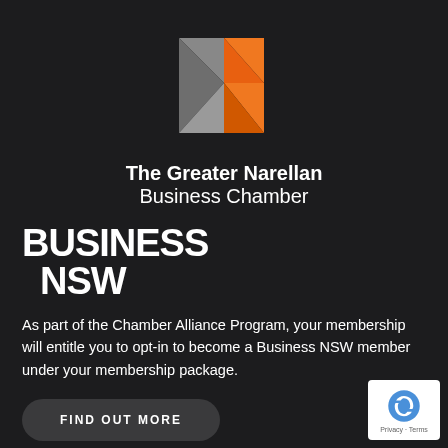[Figure (logo): The Greater Narellan Business Chamber geometric logo — grey and orange triangular N-shaped mark]
The Greater Narellan Business Chamber
[Figure (logo): BUSINESS NSW logo in bold white text]
As part of the Chamber Alliance Program, your membership will entitle you to opt-in to become a Business NSW member under your membership package.
FIND OUT MORE